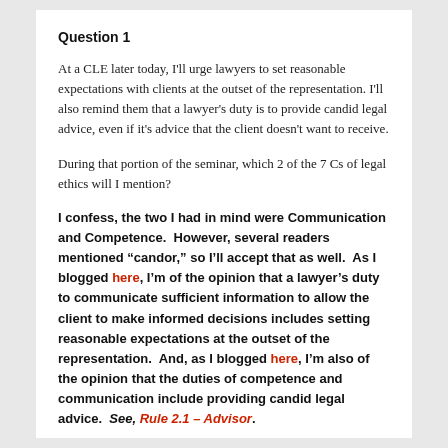Question 1
At a CLE later today, I'll urge lawyers to set reasonable expectations with clients at the outset of the representation. I'll also remind them that a lawyer's duty is to provide candid legal advice, even if it's advice that the client doesn't want to receive.
During that portion of the seminar, which 2 of the 7 Cs of legal ethics will I mention?
I confess, the two I had in mind were Communication and Competence. However, several readers mentioned “candor,” so I’ll accept that as well. As I blogged here, I’m of the opinion that a lawyer’s duty to communicate sufficient information to allow the client to make informed decisions includes setting reasonable expectations at the outset of the representation. And, as I blogged here, I’m also of the opinion that the duties of competence and communication include providing candid legal advice. See, Rule 2.1 – Advisor.